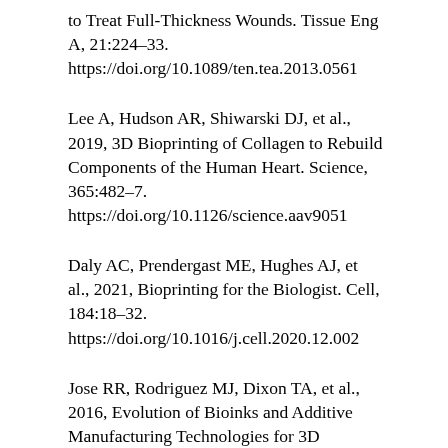to Treat Full-Thickness Wounds. Tissue Eng A, 21:224–33. https://doi.org/10.1089/ten.tea.2013.0561
Lee A, Hudson AR, Shiwarski DJ, et al., 2019, 3D Bioprinting of Collagen to Rebuild Components of the Human Heart. Science, 365:482–7. https://doi.org/10.1126/science.aav9051
Daly AC, Prendergast ME, Hughes AJ, et al., 2021, Bioprinting for the Biologist. Cell, 184:18–32. https://doi.org/10.1016/j.cell.2020.12.002
Jose RR, Rodriguez MJ, Dixon TA, et al., 2016, Evolution of Bioinks and Additive Manufacturing Technologies for 3D Bioprinting. ACS Biomater Sci Eng, 2:1662–78. https://doi.org/10.1021/acsbiomaterials.6b